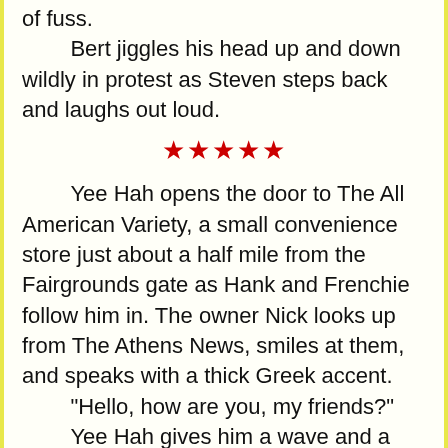of fuss.
Bert jiggles his head up and down wildly in protest as Steven steps back and laughs out loud.
★★★★★
Yee Hah opens the door to The All American Variety, a small convenience store just about a half mile from the Fairgrounds gate as Hank and Frenchie follow him in. The owner Nick looks up from The Athens News, smiles at them, and speaks with a thick Greek accent.
“Hello, how are you, my friends?”
Yee Hah gives him a wave and a wide grin, walks over to the cooler, and gets a case of beer.
“Hey Nick! Gotta get our supplies.”
Hank pushes Frenchie out of the way and quickly gets a case of Genesee.